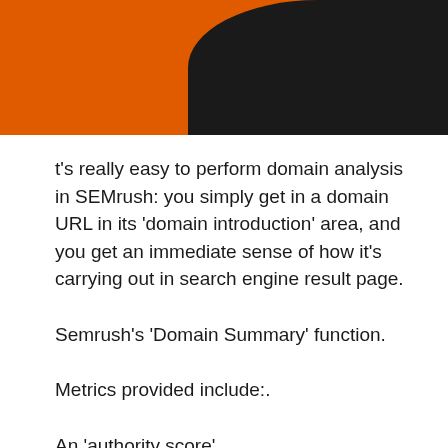[Figure (photo): Orange and dark/black background image at the top of the page, partially showing what appears to be a person with a dark head area against an orange background]
t's really easy to perform domain analysis in SEMrush: you simply get in a domain URL in its ‘domain introduction’ area, and you get an immediate sense of how it’s carrying out in search engine result page.
Semrush’s ‘Domain Summary’ function.
Metrics provided include:.
An ‘authority score’.